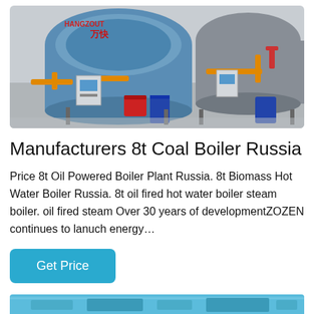[Figure (photo): Industrial boiler room with large cylindrical blue and silver boilers, orange gas pipes, blue drums, and control panels. Chinese text and logo visible on the boilers.]
Manufacturers 8t Coal Boiler Russia
Price 8t Oil Powered Boiler Plant Russia. 8t Biomass Hot Water Boiler Russia. 8t oil fired hot water boiler steam boiler. oil fired steam Over 30 years of developmentZOZEN continues to lanuch energy…
Get Price
[Figure (photo): Partial view of another industrial boiler or equipment, blue tones, visible at the bottom of the page.]